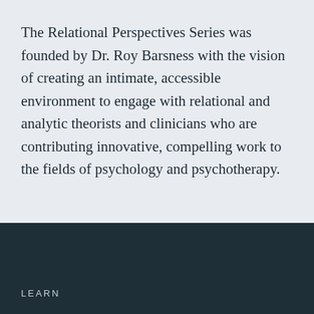The Relational Perspectives Series was founded by Dr. Roy Barsness with the vision of creating an intimate, accessible environment to engage with relational and analytic theorists and clinicians who are contributing innovative, compelling work to the fields of psychology and psychotherapy.
LEARN